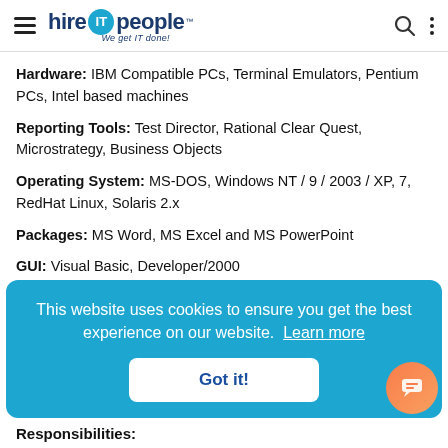hire IT people — We get IT done!
Hardware: IBM Compatible PCs, Terminal Emulators, Pentium PCs, Intel based machines
Reporting Tools: Test Director, Rational Clear Quest, Microstrategy, Business Objects
Operating System: MS-DOS, Windows NT / 9 / 2003 / XP, 7, RedHat Linux, Solaris 2.x
Packages: MS Word, MS Excel and MS PowerPoint
GUI: Visual Basic, Developer/2000
This website uses cookies to ensure you get the best experience on our website. Learn more
Got it!
Responsibilities: